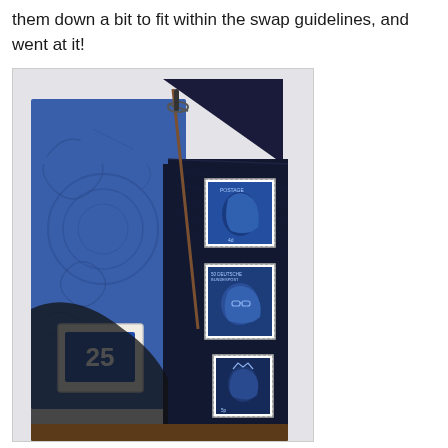them down a bit to fit within the swap guidelines, and went at it!
[Figure (photo): Mixed media artwork featuring a house silhouette shape in dark navy/black with blue textured panels. The piece includes postage stamps (British and German), a miniature sword/rapier, a blue tile with the number 25, and embossed floral/lace patterns in blue. Background is white/light grey.]